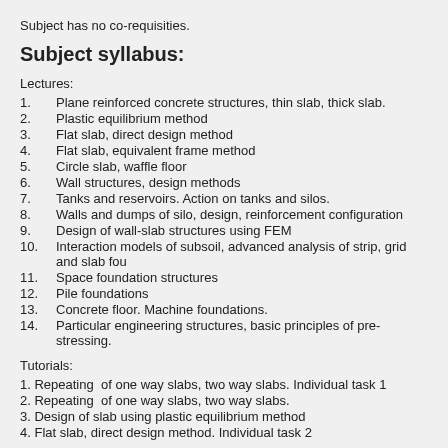Subject has no co-requisities.
Subject syllabus:
Lectures:
1.   Plane reinforced concrete structures, thin slab, thick slab.
2.   Plastic equilibrium method
3.   Flat slab, direct design method
4.   Flat slab, equivalent frame method
5.   Circle slab, waffle floor
6.   Wall structures, design methods
7.   Tanks and reservoirs. Action on tanks and silos.
8.   Walls and dumps of silo, design, reinforcement configuration
9.   Design of wall-slab structures using FEM
10.  Interaction models of subsoil, advanced analysis of strip, grid and slab fou...
11.  Space foundation structures
12.  Pile foundations
13.  Concrete floor. Machine foundations.
14.  Particular engineering structures, basic principles of pre-stressing.
Tutorials:
1. Repeating of one way slabs, two way slabs. Individual task 1
2. Repeating of one way slabs, two way slabs.
3. Design of slab using plastic equilibrium method
4. Flat slab, direct design method. Individual task 2